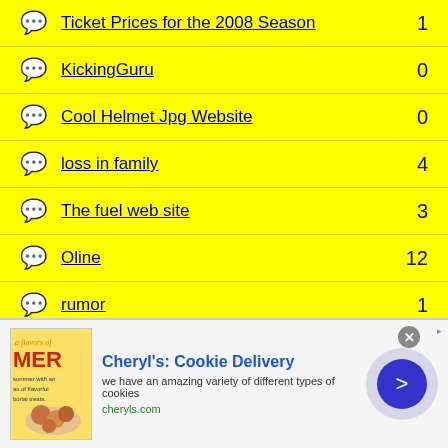Ticket Prices for the 2008 Season  1
KickingGuru  0
Cool Helmet Jpg Website  0
loss in family  4
The fuel web site  3
Oline  12
rumor  1
[Figure (other): Advertisement banner for Cheryl's Cookie Delivery with close button, image of cookies, text and arrow button]